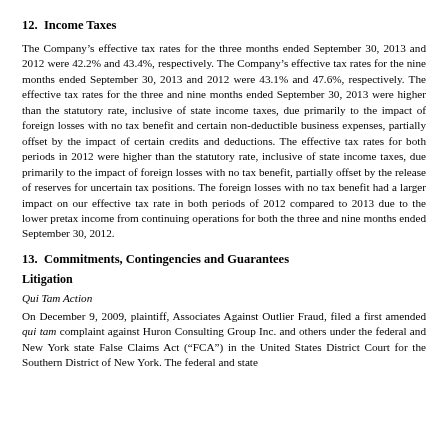12.  Income Taxes
The Company's effective tax rates for the three months ended September 30, 2013 and 2012 were 42.2% and 43.4%, respectively. The Company's effective tax rates for the nine months ended September 30, 2013 and 2012 were 43.1% and 47.6%, respectively. The effective tax rates for the three and nine months ended September 30, 2013 were higher than the statutory rate, inclusive of state income taxes, due primarily to the impact of foreign losses with no tax benefit and certain non-deductible business expenses, partially offset by the impact of certain credits and deductions. The effective tax rates for both periods in 2012 were higher than the statutory rate, inclusive of state income taxes, due primarily to the impact of foreign losses with no tax benefit, partially offset by the release of reserves for uncertain tax positions. The foreign losses with no tax benefit had a larger impact on our effective tax rate in both periods of 2012 compared to 2013 due to the lower pretax income from continuing operations for both the three and nine months ended September 30, 2012.
13.  Commitments, Contingencies and Guarantees
Litigation
Qui Tam Action
On December 9, 2009, plaintiff, Associates Against Outlier Fraud, filed a first amended qui tam complaint against Huron Consulting Group Inc. and others under the federal and New York state False Claims Act (“FCA”) in the United States District Court for the Southern District of New York. The federal and state